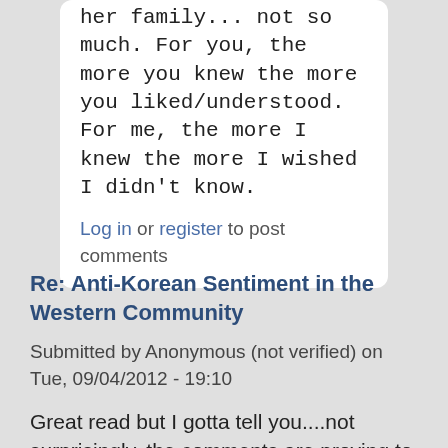her family... not so much. For you, the more you knew the more you liked/understood. For me, the more I knew the more I wished I didn't know.
Log in or register to post comments
Re: Anti-Korean Sentiment in the Western Community
Submitted by Anonymous (not verified) on Tue, 09/04/2012 - 19:10
Great read but I gotta tell you....not surprisingly, the comments are proving to be equally intriguing. Having